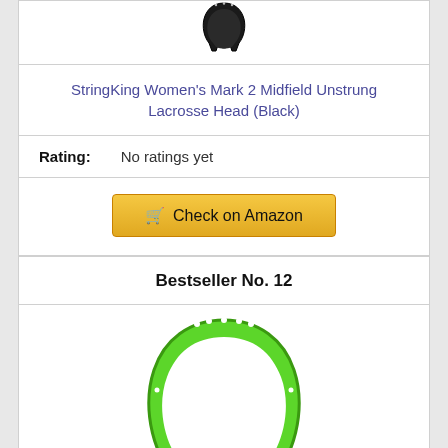[Figure (photo): Black lacrosse head (top portion visible) on white background]
StringKing Women's Mark 2 Midfield Unstrung Lacrosse Head (Black)
Rating: No ratings yet
Check on Amazon
Bestseller No. 12
[Figure (photo): Bright green lacrosse head on white background]